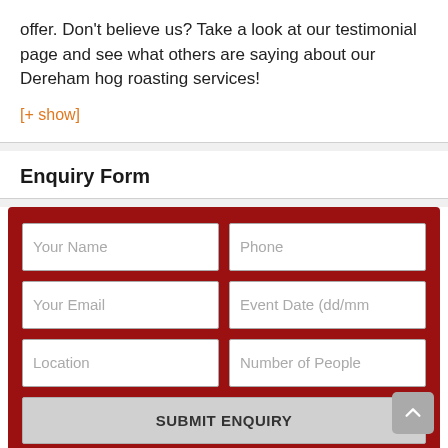offer. Don’t believe us? Take a look at our testimonial page and see what others are saying about our Dereham hog roasting services!
[+ show]
Enquiry Form
[Figure (other): Enquiry form with fields: Your Name, Phone, Your Email, Event Date (dd/mm), Location, Number of People, and a SUBMIT ENQUIRY button. Form has a dark red background.]